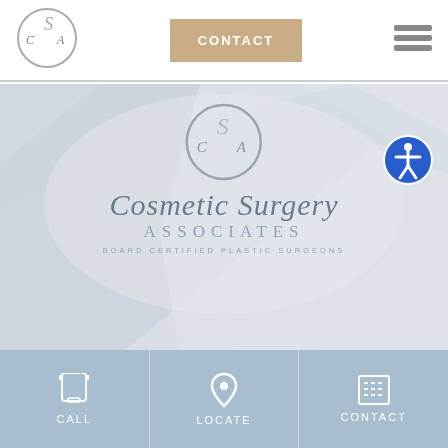[Figure (logo): CSA Cosmetic Surgery Associates circular logo in header]
CONTACT
[Figure (logo): Hamburger menu icon with three horizontal lines]
[Figure (illustration): Hero section with light grey geometric background and centered CSA logo with brand name Cosmetic Surgery Associates, Board Certified Plastic Surgeons, and accessibility icon]
AVERAGE RATING
CALL
LOCATE
CONTACT